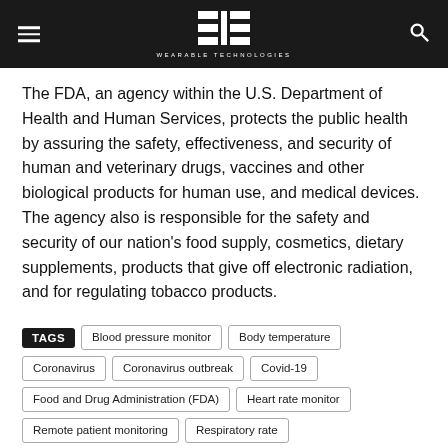WEARABLE TECHNOLOGIES
The FDA, an agency within the U.S. Department of Health and Human Services, protects the public health by assuring the safety, effectiveness, and security of human and veterinary drugs, vaccines and other biological products for human use, and medical devices. The agency also is responsible for the safety and security of our nation's food supply, cosmetics, dietary supplements, products that give off electronic radiation, and for regulating tobacco products.
TAGS: Blood pressure monitor, Body temperature, Coronavirus, Coronavirus outbreak, Covid-19, Food and Drug Administration (FDA), Heart rate monitor, Remote patient monitoring, Respiratory rate